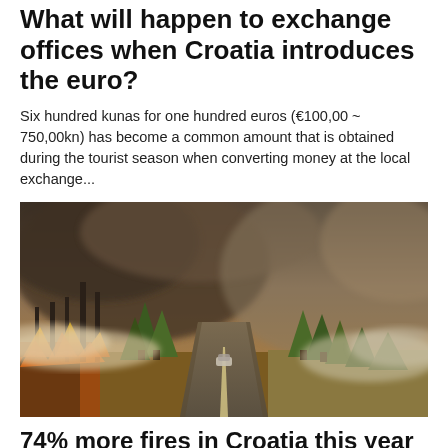What will happen to exchange offices when Croatia introduces the euro?
Six hundred kunas for one hundred euros (€100,00 ~ 750,00kn) has become a common amount that is obtained during the tourist season when converting money at the local exchange...
[Figure (photo): A wildfire scene showing a road with a car driving through heavy smoke and flames. Trees on both sides of the road are engulfed in smoke from a large wildfire. The sky is dark with smoke and ash.]
74% more fires in Croatia this year